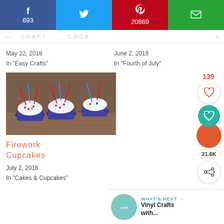[Figure (infographic): Social share bar with Facebook (693), Twitter, Pinterest (20869), and Email icons]
CRAFT ... COOK
May 22, 2018
In 'Easy Crafts'
June 2, 2018
In 'Fourth of July'
[Figure (photo): Cupcakes decorated with white frosting, sprinkles, and red, white, blue firework picks in blue cupcake liners]
Firework Cupcakes
July 2, 2016
In 'Cakes & Cupcakes'
139
[Figure (infographic): Floating side widget: heart button (white), teal heart button, orange circle with 21.6K count, share button]
WHAT'S NEXT → Vinyl Crafts with...
[Figure (photo): Circular thumbnail for Vinyl Crafts with... article]